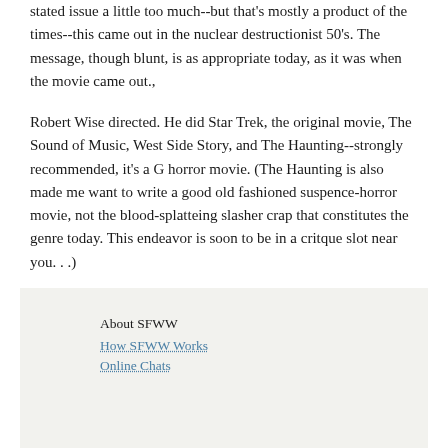stated issue a little too much--but that's mostly a product of the times--this came out in the nuclear destructionist 50's. The message, though blunt, is as appropriate today, as it was when the movie came out.,
Robert Wise directed. He did Star Trek, the original movie, The Sound of Music, West Side Story, and The Haunting--strongly recommended, it's a G horror movie. (The Haunting is also made me want to write a good old fashioned suspence-horror movie, not the blood-splatteing slasher crap that constitutes the genre today. This endeavor is soon to be in a critque slot near you. . .)
Check this out, if nothing else, to see the origins of serious science fiction moviedom.
About SFWW
How SFWW Works
Online Chats